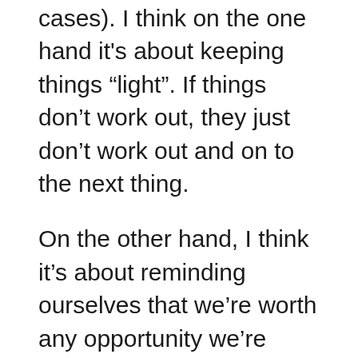cases). I think on the one hand it’s about keeping things “light”. If things don’t work out, they just don’t work out and on to the next thing.
On the other hand, I think it’s about reminding ourselves that we’re worth any opportunity we’re going after. I love Patti Stanger’s show but I’d love to watch a show for the 40 and over crowd, especially a show that encourages women in this age group to embrace their softness and femininity; Don’t be ashamed